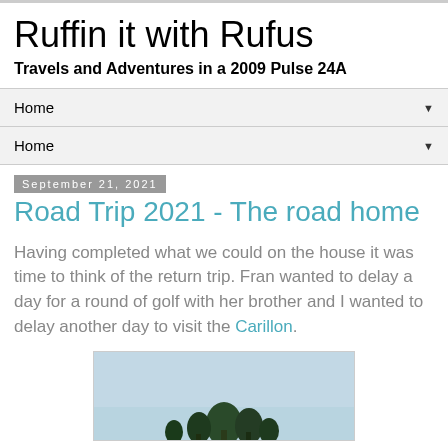Ruffin it with Rufus
Travels and Adventures in a 2009 Pulse 24A
Home ▼
Home ▼
September 21, 2021
Road Trip 2021 - The road home
Having completed what we could on the house it was time to think of the return trip.  Fran wanted to delay a day for a round of golf with her brother and I wanted to delay another day to visit the Carillon.
[Figure (photo): Outdoor photo showing a sky and tree silhouette at bottom, partially cropped]